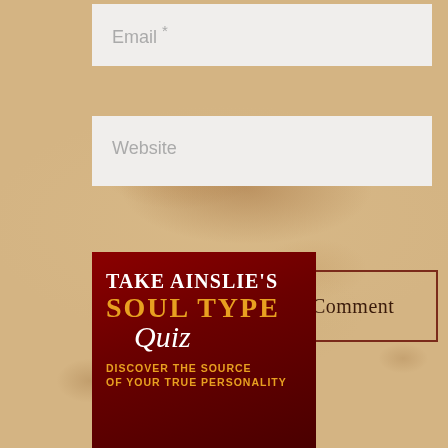Email *
Website
Submit Comment
[Figure (illustration): Dark red promotional banner for Take Ainslie's Soul Type Quiz with text: TAKE AINSLIE'S SOUL TYPE Quiz DISCOVER THE SOURCE OF YOUR TRUE PERSONALITY]